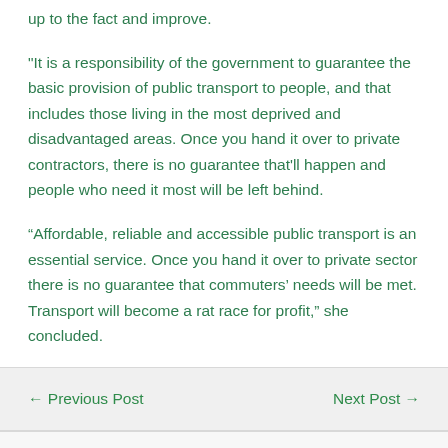up to the fact and improve.
"It is a responsibility of the government to guarantee the basic provision of public transport to people, and that includes those living in the most deprived and disadvantaged areas. Once you hand it over to private contractors, there is no guarantee that'll happen and people who need it most will be left behind.
“Affordable, reliable and accessible public transport is an essential service. Once you hand it over to private sector there is no guarantee that commuters’ needs will be met. Transport will become a rat race for profit,” she concluded.
← Previous Post | Next Post →
Leave a Comment